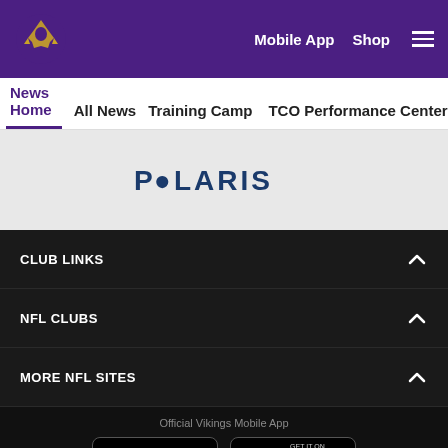[Figure (logo): Minnesota Vikings logo with purple header containing Mobile App and Shop links and hamburger menu]
News Home | All News | Training Camp | TCO Performance Center
[Figure (logo): Polaris logo in dark blue text on light gray background]
CLUB LINKS
NFL CLUBS
MORE NFL SITES
Official Vikings Mobile App
[Figure (other): Download on the App Store and Get it on Google Play badges]
[Figure (other): Social media icons: Facebook, Twitter, Email, Link]